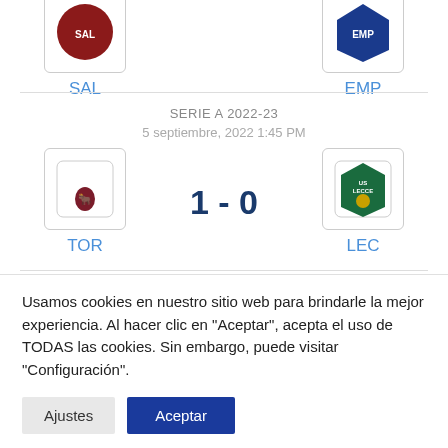SAL
EMP
SERIE A 2022-23
5 septiembre, 2022 1:45 PM
TOR
1 - 0
LEC
LALIGA 2022-23
5 septiembre, 2022 2:00 PM
1 - 0
Usamos cookies en nuestro sitio web para brindarle la mejor experiencia. Al hacer clic en "Aceptar", acepta el uso de TODAS las cookies. Sin embargo, puede visitar "Configuración".
Ajustes
Aceptar